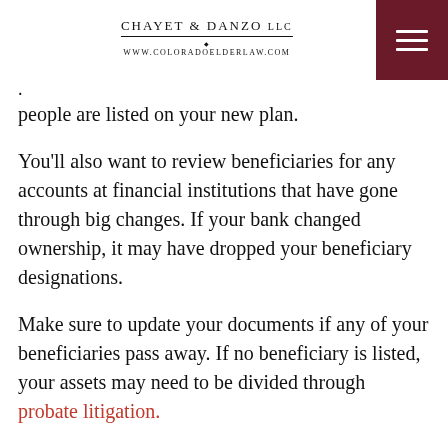Chayet & Danzo LLC | www.ColoradoElderLaw.com
people are listed on your new plan.
You'll also want to review beneficiaries for any accounts at financial institutions that have gone through big changes. If your bank changed ownership, it may have dropped your beneficiary designations.
Make sure to update your documents if any of your beneficiaries pass away. If no beneficiary is listed, your assets may need to be divided through probate litigation.